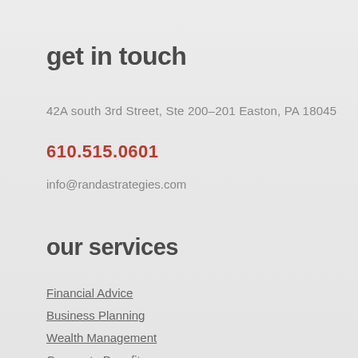get in touch
42A south 3rd Street, Ste 200-201 Easton, PA 18045
610.515.0601
info@randastrategies.com
our services
Financial Advice
Business Planning
Wealth Management
Corporate Benefits